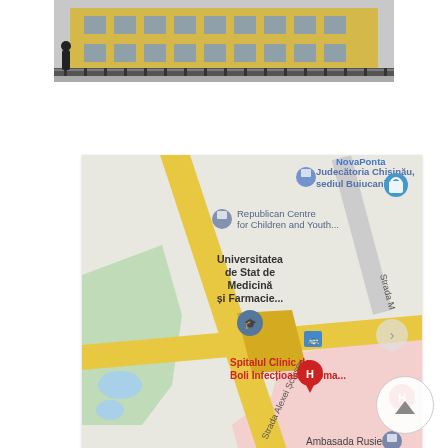[Figure (photo): Partial view of a building facade with yellow walls and dark fence, cropped at top]
[Figure (map): Google Maps screenshot showing Chisinau area with labels: Judecatoria Chisinau sediul Buiucani, Republican Centre for Children and Youth, Universitatea de Stat de Medicina si Farmacie, Spitalul Clinic de Boli Infectioase Toma, Ambasada Rusiei, Strada Alexei Sciusey, NovaPonta. Yellow roads crossing, green park area on left, pink area on lower right. Hospital H markers visible.]